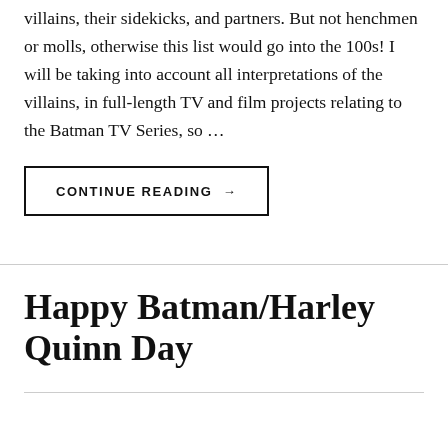villains, their sidekicks, and partners. But not henchmen or molls, otherwise this list would go into the 100s! I will be taking into account all interpretations of the villains, in full-length TV and film projects relating to the Batman TV Series, so …
CONTINUE READING →
Happy Batman/Harley Quinn Day